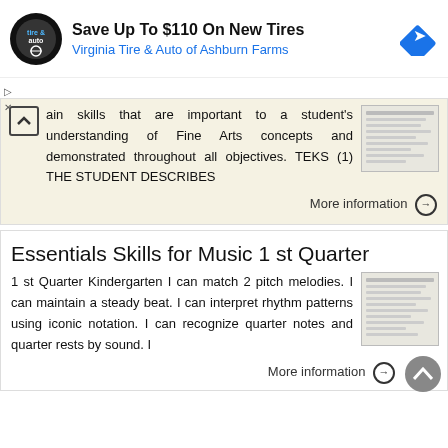[Figure (other): Advertisement banner: Virginia Tire & Auto of Ashburn Farms - Save Up To $110 On New Tires]
ain skills that are important to a student's understanding of Fine Arts concepts and demonstrated throughout all objectives. TEKS (1) THE STUDENT DESCRIBES
More information →
Essentials Skills for Music 1 st Quarter
1 st Quarter Kindergarten I can match 2 pitch melodies. I can maintain a steady beat. I can interpret rhythm patterns using iconic notation. I can recognize quarter notes and quarter rests by sound. I
More information →